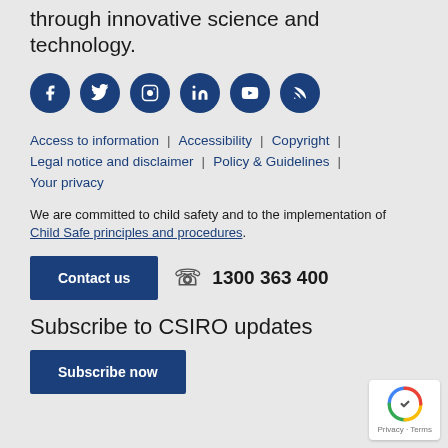through innovative science and technology.
[Figure (illustration): Six dark blue circular social media icons: Facebook, Twitter, Instagram, LinkedIn, YouTube, RSS]
Access to information | Accessibility | Copyright | Legal notice and disclaimer | Policy & Guidelines | Your privacy
We are committed to child safety and to the implementation of Child Safe principles and procedures.
Contact us  ☎ 1300 363 400
Subscribe to CSIRO updates
Subscribe now